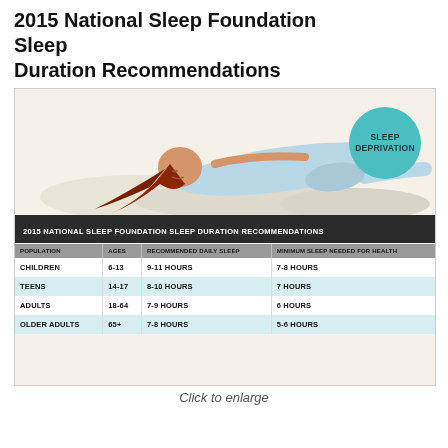2015 National Sleep Foundation Sleep Duration Recommendations
[Figure (infographic): Infographic showing a sleeping woman illustration with a teal 'Sleep Deprivation' badge, followed by a table titled '2015 National Sleep Foundation Sleep Duration Recommendations' with columns for Population, Ages, Recommended Daily Sleep, and Minimum Sleep Needed for Health. Rows: Children 6-13 9-11 Hours 7-8 Hours; Teens 14-17 8-10 Hours 7 Hours; Adults 18-64 7-9 Hours 6 Hours; Older Adults 65+ 7-8 Hours 5-6 Hours.]
Click to enlarge